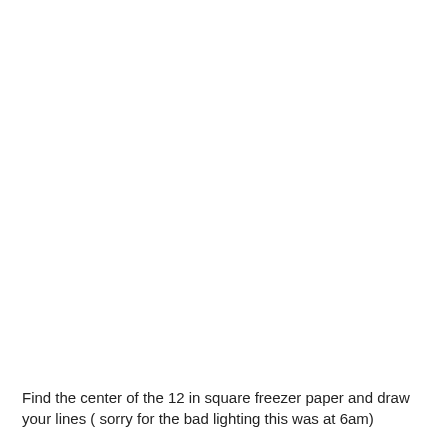Find the center of the 12 in square freezer paper and draw your lines ( sorry for the bad lighting this was at 6am)